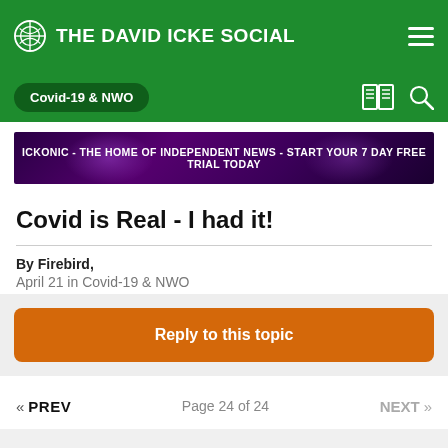THE DAVID ICKE SOCIAL
Covid-19 & NWO
[Figure (screenshot): Banner advertisement: ICKONIC - THE HOME OF INDEPENDENT NEWS - START YOUR 7 DAY FREE TRIAL TODAY on a dark purple background with pink/purple light effects]
Covid is Real - I had it!
By Firebird,
April 21 in Covid-19 & NWO
Reply to this topic
« PREV  Page 24 of 24  NEXT »